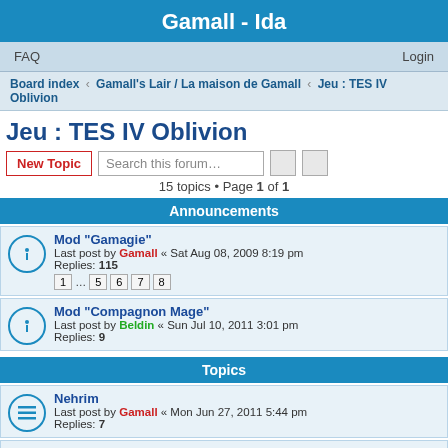Gamall - Ida
FAQ    Login
Board index › Gamall's Lair / La maison de Gamall › Jeu : TES IV Oblivion
Jeu : TES IV Oblivion
New Topic   Search this forum…
15 topics • Page 1 of 1
Announcements
Mod "Gamagie"
Last post by Gamall « Sat Aug 08, 2009 8:19 pm
Replies: 115
1 … 5 6 7 8
Mod "Compagnon Mage"
Last post by Beldin « Sun Jul 10, 2011 3:01 pm
Replies: 9
Topics
Nehrim
Last post by Gamall « Mon Jun 27, 2011 5:44 pm
Replies: 7
Aublivion en englé? stp lol
Last post by Gamall « Wed Dec 15, 2010 1:36 pm